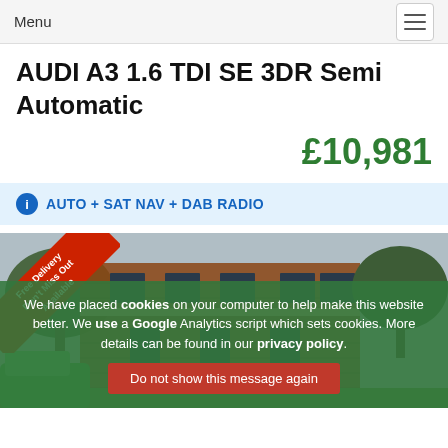Menu
AUDI A3 1.6 TDI SE 3DR Semi Automatic
£10,981
AUTO + SAT NAV + DAB RADIO
[Figure (photo): Photograph of a brick building with trees, partially overlaid by a cookie consent banner. A red diagonal ribbon badge reads 'Free Delivery Available Don't Miss Out'. Bottom left shows part of a green car.]
We have placed cookies on your computer to help make this website better. We use a Google Analytics script which sets cookies. More details can be found in our privacy policy.
Do not show this message again